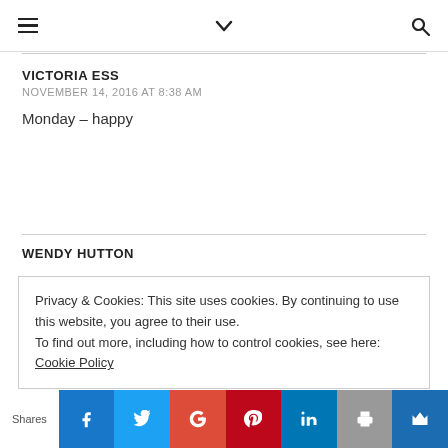Navigation bar with hamburger menu, chevron, and search icon
VICTORIA ESS
NOVEMBER 14, 2016 AT 8:38 AM
Monday – happy
WENDY HUTTON
Privacy & Cookies: This site uses cookies. By continuing to use this website, you agree to their use.
To find out more, including how to control cookies, see here: Cookie Policy
Shares — social share buttons: Facebook, Twitter, Google+, Pinterest, LinkedIn, Print, Bookmark